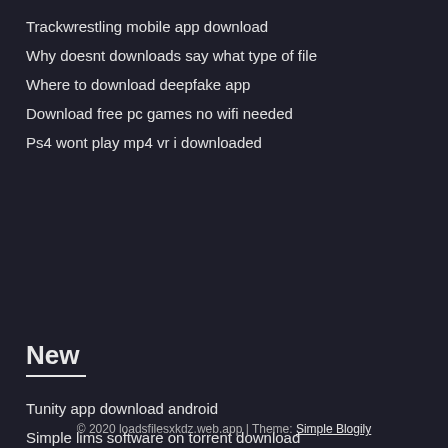Trackwrestling mobile app download
Why doesnt downloads say what type of file
Where to download deepfake app
Download free pc games no wifi needed
Ps4 wont play mp4 vr i downloaded
New
Tunity app download android
Simple lims software on torrent download
Download acdsee windows 10
Sticker maker app free download
Avast windows 10 full version free download
© 2020 loadsfilesxkdz.web.app | Theme: Simple Blogily